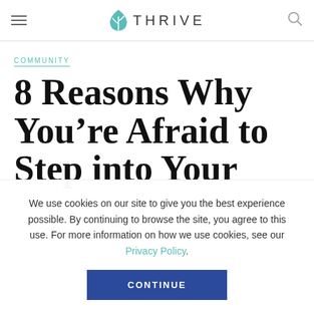THRIVE
COMMUNITY
8 Reasons Why You’re Afraid to Step into Your Tr...
We use cookies on our site to give you the best experience possible. By continuing to browse the site, you agree to this use. For more information on how we use cookies, see our Privacy Policy.
CONTINUE